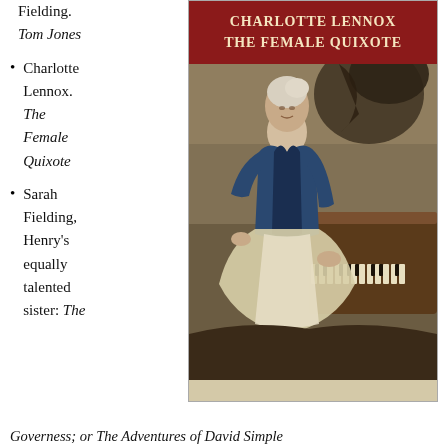Fielding. Tom Jones
Charlotte Lennox. The Female Quixote
Sarah Fielding, Henry's equally talented sister: The Governess; or The Adventures of David Simple
[Figure (photo): Book cover of 'The Female Quixote' by Charlotte Lennox, showing a painted portrait of an 18th-century woman in a blue dress standing beside a harpsichord, with a dark background. The cover has a red header with white text reading 'Charlotte Lennox The Female Quixote'.]